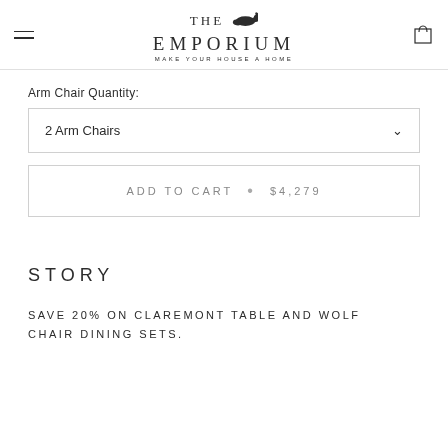THE EMPORIUM MAKE YOUR HOUSE A HOME
Arm Chair Quantity:
2 Arm Chairs
ADD TO CART • $4,279
STORY
SAVE 20% ON CLAREMONT TABLE AND WOLF CHAIR DINING SETS.